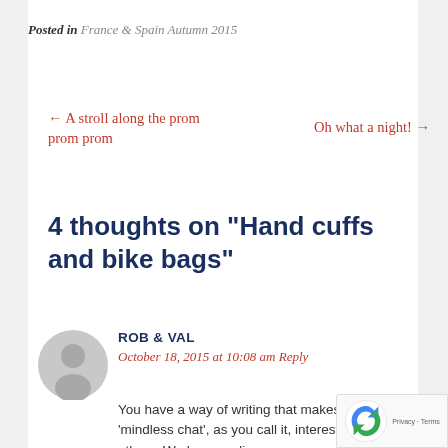Posted in France & Spain Autumn 2015
← A stroll along the prom prom prom
Oh what a night! →
4 thoughts on “Hand cuffs and bike bags”
ROB & VAL
October 18, 2015 at 10:08 am Reply
You have a way of writing that makes your ‘mindless chat’, as you call it, interesting to others. We love reading your